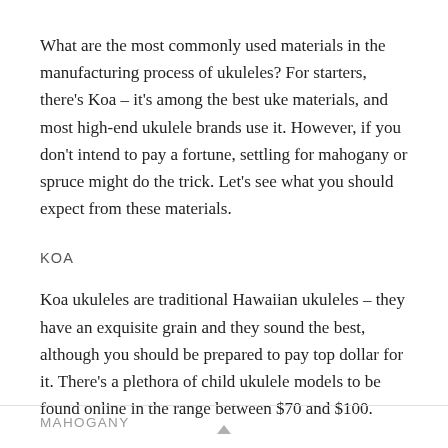What are the most commonly used materials in the manufacturing process of ukuleles? For starters, there's Koa – it's among the best uke materials, and most high-end ukulele brands use it. However, if you don't intend to pay a fortune, settling for mahogany or spruce might do the trick. Let's see what you should expect from these materials.
KOA
Koa ukuleles are traditional Hawaiian ukuleles – they have an exquisite grain and they sound the best, although you should be prepared to pay top dollar for it. There's a plethora of child ukulele models to be found online in the range between $70 and $100.
MAHOGANY